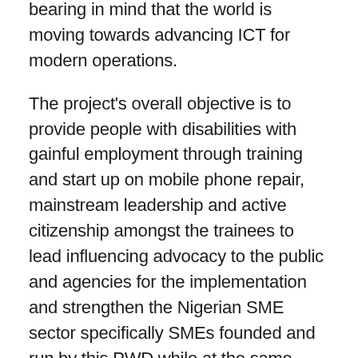bearing in mind that the world is moving towards advancing ICT for modern operations.
The project's overall objective is to provide people with disabilities with gainful employment through training and start up on mobile phone repair, mainstream leadership and active citizenship amongst the trainees to lead influencing advocacy to the public and agencies for the implementation and strengthen the Nigerian SME sector specifically SMEs founded and run by this PWD while at the same time making them investment ready through a well-thought-out incubation, business development and social business trainings.
And the specific objectives are: